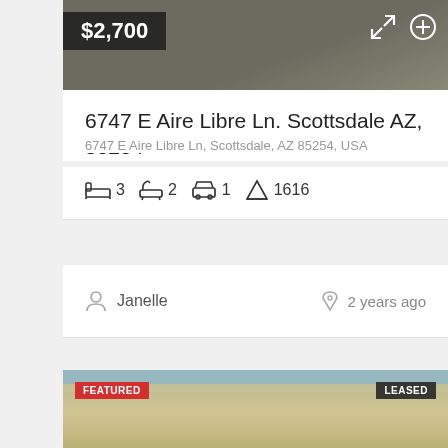[Figure (photo): Top portion of a property listing image with dark background]
$2,700
6747 E Aire Libre Ln. Scottsdale AZ, 85254
6747 E Aire Libre Ln, Scottsdale, AZ 85254, USA
3  2  1  1616
Janelle
2 years ago
[Figure (photo): Exterior photo of a two-story beige stucco residential property with FEATURED and LEASED badges]